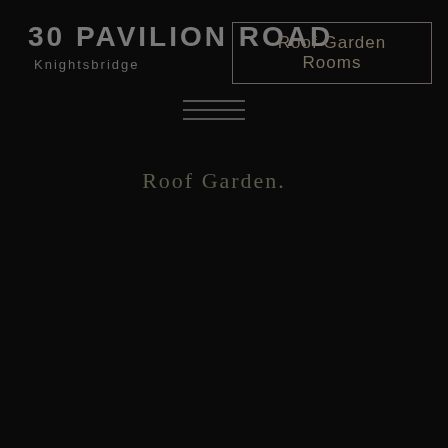30 PAVILION ROAD
Knightsbridge
Roof Garden Rooms
[Figure (other): Hamburger menu icon with three horizontal lines]
Roof Garden.